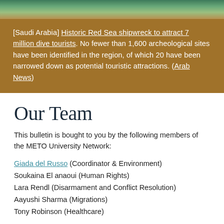[Figure (photo): Underwater photo of coral reef / sea floor visible at top of brown section]
[Saudi Arabia] Historic Red Sea shipwreck to attract 7 million dive tourists. No fewer than 1,600 archeological sites have been identified in the region, of which 20 have been narrowed down as potential touristic attractions. (Arab News)
Our Team
This bulletin is bought to you by the following members of the METO University Network:
Giada del Russo (Coordinator & Environment)
Soukaina El anaoui (Human Rights)
Lara Rendl (Disarmament and Conflict Resolution)
Aayushi Sharma (Migrations)
Tony Robinson (Healthcare)